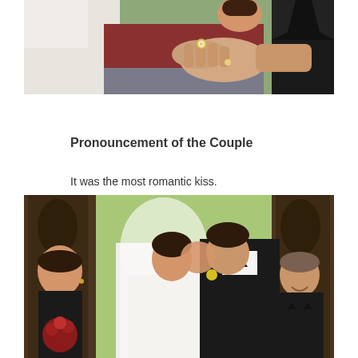[Figure (photo): Wedding ceremony photo showing a ring exchange. A woman in a white wedding dress and a man in a black tuxedo are exchanging rings, with a bridesmaid in a red and gray dress in the background.]
Pronouncement of the Couple
It was the most romantic kiss.
[Figure (photo): Wedding ceremony photo showing the couple's first kiss. The bride in a white dress and veil and groom in a black tuxedo are kissing, with a bridesmaid holding red flowers on the left and a groomsman smiling on the right.]